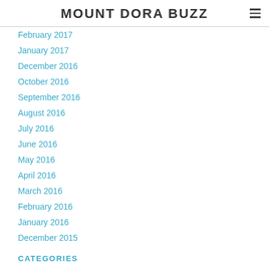MOUNT DORA BUZZ
February 2017
January 2017
December 2016
October 2016
September 2016
August 2016
July 2016
June 2016
May 2016
April 2016
March 2016
February 2016
January 2016
December 2015
CATEGORIES